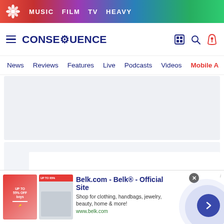MUSIC  FILM  TV  HEAVY
CONSEQUENCE
News  Reviews  Features  Live  Podcasts  Videos  Mobile A
[Figure (other): Gray placeholder advertisement area at top of content]
[Figure (other): Light blue-gray content loading area with three gray square loading dots]
[Figure (other): Bottom advertisement banner: Belk.com - Belk Official Site. Shop for clothing, handbags, jewelry, beauty, home & more! www.belk.com]